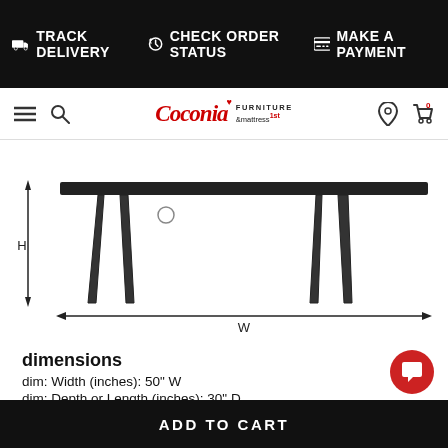TRACK DELIVERY  CHECK ORDER STATUS  MAKE A PAYMENT
[Figure (schematic): Line drawing of a table from the front view, showing two pairs of tapered legs and a tabletop. Dimension arrows indicate H (height) on the left side and W (width) along the bottom.]
dimensions
dim: Width (inches): 50" W
dim: Depth or Length (inches): 30" D
dim: Height (inches): 20" H
ADD TO CART